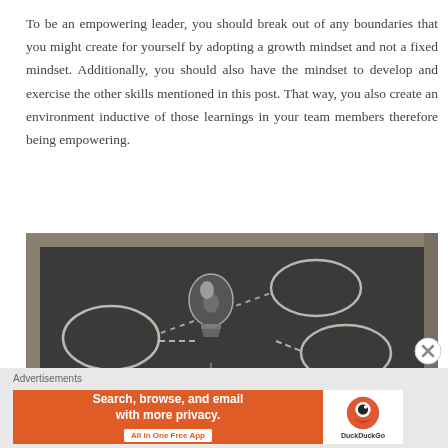To be an empowering leader, you should break out of any boundaries that you might create for yourself by adopting a growth mindset and not a fixed mindset. Additionally, you should also have the mindset to develop and exercise the other skills mentioned in this post. That way, you also create an environment inductive of those learnings in your team members therefore being empowering.
[Figure (photo): Black and white photograph of a chalkboard with chalk-drawn oval/circle shapes and a light bulb placed on the board, suggesting a mind-map or idea concept.]
Advertisements — Search, browse, and email with more privacy. All in One Free App — DuckDuckGo